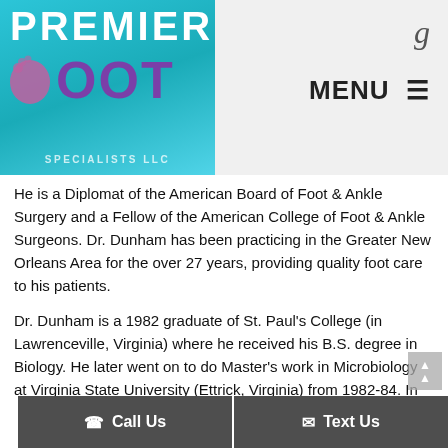[Figure (logo): Premier Foot Specialists LLC logo with teal background, stylized foot icon, and purple FOOT text]
MENU ≡
He is a Diplomat of the American Board of Foot & Ankle Surgery and a Fellow of the American College of Foot & Ankle Surgeons. Dr. Dunham has been practicing in the Greater New Orleans Area for the over 27 years, providing quality foot care to his patients.
Dr. Dunham is a 1982 graduate of St. Paul's College (in Lawrenceville, Virginia) where he received his B.S. degree in Biology. He later went on to do Master's work in Microbiology at Virginia State University (Ettrick, Virginia) from 1982-84. In 1988, Dr. Dunham graduated from the New York College of Podiatric Medicine (located in New York City, NY), where he received his Doctor of Podiatric Medicine (DPM) degree. Following completion of podiatric medical school, we went on to do his residency training at...
Call Us   Text Us